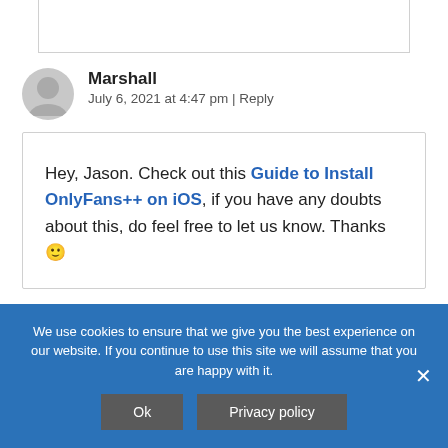Is OnlyFans available on AppValley?
Marshall
July 6, 2021 at 4:47 pm | Reply
Hey, Jason. Check out this Guide to Install OnlyFans++ on iOS, if you have any doubts about this, do feel free to let us know. Thanks 🙂
We use cookies to ensure that we give you the best experience on our website. If you continue to use this site we will assume that you are happy with it.